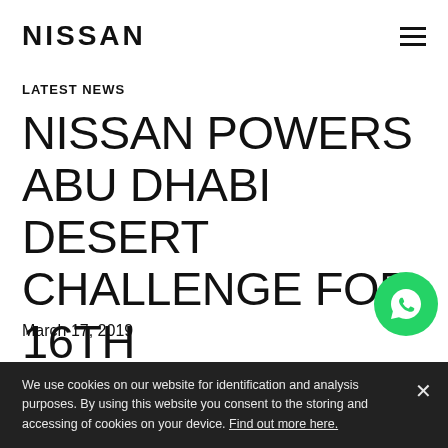NISSAN
LATEST NEWS
NISSAN POWERS ABU DHABI DESERT CHALLENGE FOR 16TH CONSECUTIVE YEAR
March 17, 2019
We use cookies on our website for identification and analysis purposes. By using this website you consent to the storing and accessing of cookies on your device. Find out more here.